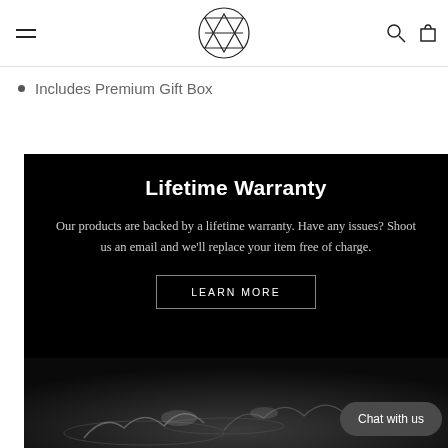Navigation header with menu, logo, search and cart icons
Includes Premium Gift Box
Lifetime Warranty
Our products are backed by a lifetime warranty. Have any issues? Shoot us an email and we'll replace your item free of charge.
LEARN MORE
[Figure (photo): Water and ice splashing against a dark background]
Chat with us